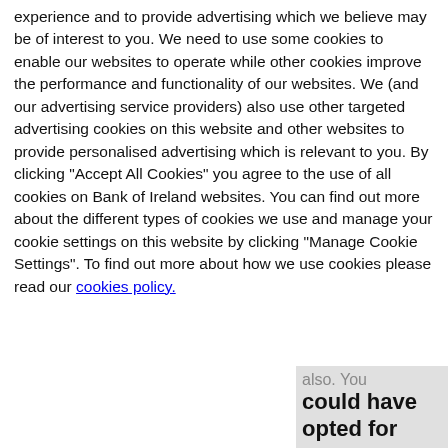experience and to provide advertising which we believe may be of interest to you. We need to use some cookies to enable our websites to operate while other cookies improve the performance and functionality of our websites. We (and our advertising service providers) also use other targeted advertising cookies on this website and other websites to provide personalised advertising which is relevant to you. By clicking "Accept All Cookies" you agree to the use of all cookies on Bank of Ireland websites. You can find out more about the different types of cookies we use and manage your cookie settings on this website by clicking "Manage Cookie Settings". To find out more about how we use cookies please read our cookies policy.
[Figure (other): Blue button with white text reading 'Manage Cookie Settings']
[Figure (photo): Partial view of a dark-colored car driving on a sandy/dirt road, with grey sidebar text showing 'could have opted for']